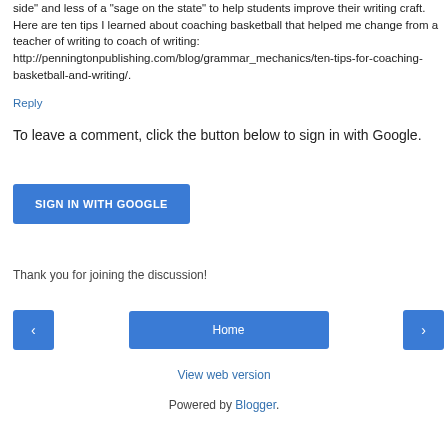side" and less of a "sage on the state" to help students improve their writing craft. Here are ten tips I learned about coaching basketball that helped me change from a teacher of writing to coach of writing: http://penningtonpublishing.com/blog/grammar_mechanics/ten-tips-for-coaching-basketball-and-writing/.
Reply
To leave a comment, click the button below to sign in with Google.
[Figure (other): SIGN IN WITH GOOGLE button]
Thank you for joining the discussion!
[Figure (other): Navigation bar with left arrow, Home button, and right arrow]
View web version
Powered by Blogger.